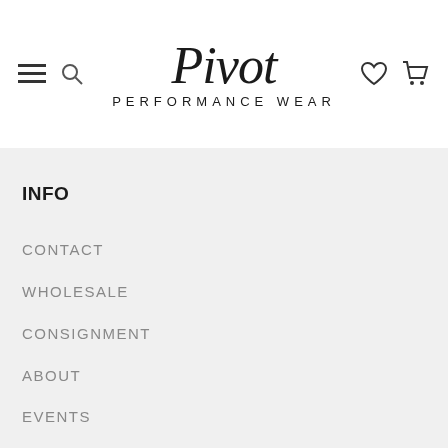[Figure (logo): Pivot Performance Wear logo with script text and uppercase subtitle]
INFO
CONTACT
WHOLESALE
CONSIGNMENT
ABOUT
EVENTS
ORDERS
SHIPPING